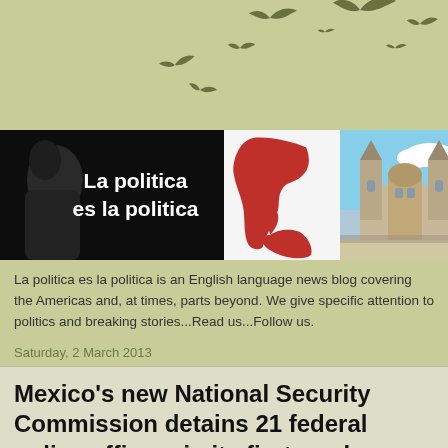[Figure (illustration): Blog banner with flying bird silhouettes on olive/khaki green background at the top, followed by a three-panel banner: left panel shows a dark silhouette figure on black background with bold white text 'La politica es la politica'; center panel shows a red map of Latin America on white background; right panel shows a color photo of a cathedral/church building.]
La politica es la politica is an English language news blog covering the Americas and, at times, parts beyond. We give specific attention to politics and breaking stories...Read us...Follow us.
Saturday, 2 March 2013
Mexico’s new National Security Commission detains 21 federal police officers in its first week